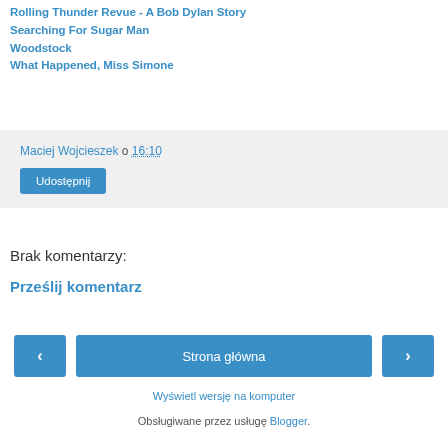Rolling Thunder Revue - A Bob Dylan Story
Searching For Sugar Man
Woodstock
What Happened, Miss Simone
Maciej Wojcieszek o 16:10
Udostępnij
Brak komentarzy:
Prześlij komentarz
‹
Strona główna
›
Wyświetl wersję na komputer
Obsługiwane przez usługę Blogger.